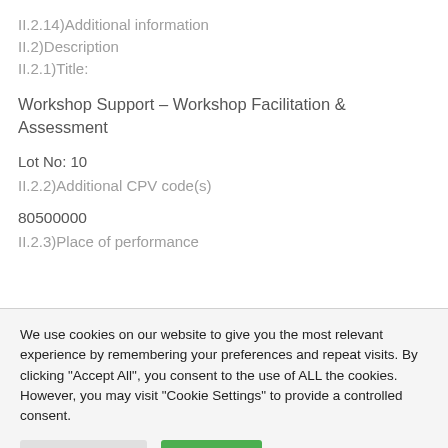II.2.14)Additional information
II.2)Description
II.2.1)Title:
Workshop Support – Workshop Facilitation & Assessment
Lot No: 10
II.2.2)Additional CPV code(s)
80500000
II.2.3)Place of performance
We use cookies on our website to give you the most relevant experience by remembering your preferences and repeat visits. By clicking "Accept All", you consent to the use of ALL the cookies. However, you may visit "Cookie Settings" to provide a controlled consent.